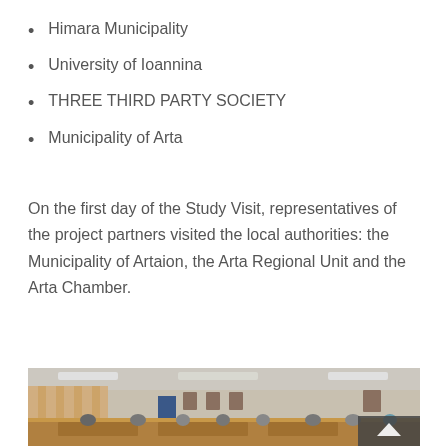Himara Municipality
University of Ioannina
THREE THIRD PARTY SOCIETY
Municipality of Arta
On the first day of the Study Visit, representatives of the project partners visited the local authorities: the Municipality of Artaion, the Arta Regional Unit and the Arta Chamber.
[Figure (photo): Meeting room with wooden desks and chairs, people seated, curtains in background, framed portraits on walls]